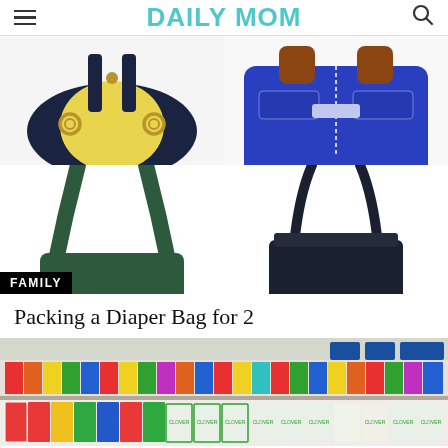DAILY MOM
[Figure (photo): Four diaper bags arranged in a 2x2 grid: top-left is a yellow and navy bag, top-right is a blue bag with brown leather accents, bottom-left is a dark green tote with visible handles, bottom-right is a dark navy structured tote. A black 'FAMILY' label overlays the bottom-left corner.]
Packing a Diaper Bag for 2
[Figure (photo): Photo of a grocery store aisle with colorful product packaging on shelves, including dairy products and other consumer goods.]